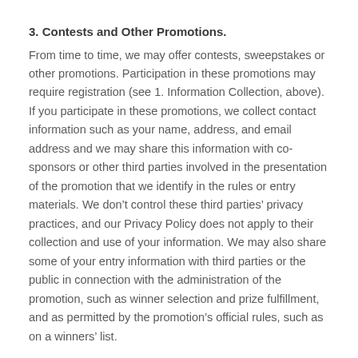3. Contests and Other Promotions.
From time to time, we may offer contests, sweepstakes or other promotions. Participation in these promotions may require registration (see 1. Information Collection, above). If you participate in these promotions, we collect contact information such as your name, address, and email address and we may share this information with co-sponsors or other third parties involved in the presentation of the promotion that we identify in the rules or entry materials. We don’t control these third parties’ privacy practices, and our Privacy Policy does not apply to their collection and use of your information. We may also share some of your entry information with third parties or the public in connection with the administration of the promotion, such as winner selection and prize fulfillment, and as permitted by the promotion’s official rules, such as on a winners’ list.
DATA SECURITY